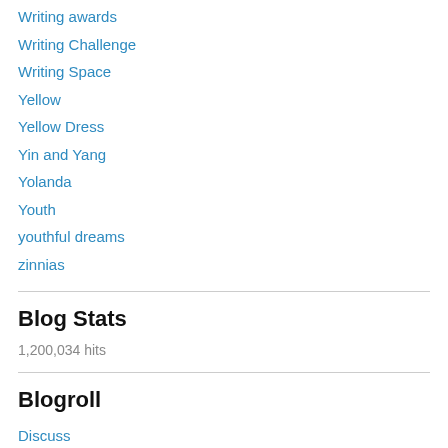Writing awards
Writing Challenge
Writing Space
Yellow
Yellow Dress
Yin and Yang
Yolanda
Youth
youthful dreams
zinnias
Blog Stats
1,200,034 hits
Blogroll
Discuss
Get Inspired